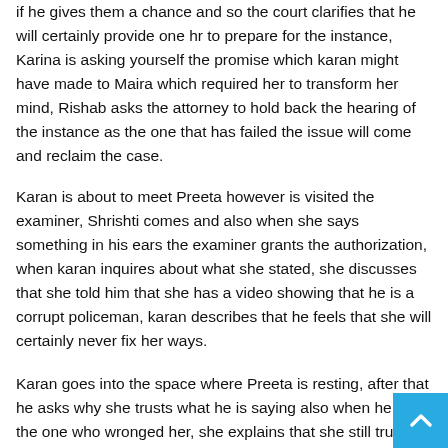if he gives them a chance and so the court clarifies that he will certainly provide one hr to prepare for the instance, Karina is asking yourself the promise which karan might have made to Maira which required her to transform her mind, Rishab asks the attorney to hold back the hearing of the instance as the one that has failed the issue will come and reclaim the case.
Karan is about to meet Preeta however is visited the examiner, Shrishti comes and also when she says something in his ears the examiner grants the authorization, when karan inquires about what she stated, she discusses that she told him that she has a video showing that he is a corrupt policeman, karan describes that he feels that she will certainly never fix her ways.
Karan goes into the space where Preeta is resting, after that he asks why she trusts what he is saying also when he was the one who wronged her, she explains that she still trusts him.